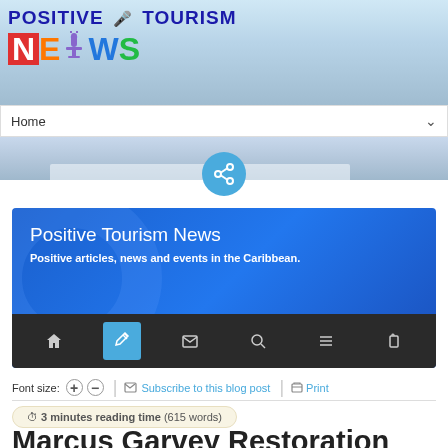[Figure (screenshot): Positive Tourism News website header with logo showing colorful letters N-E-W-S and microphone icon, navigation bar with Home dropdown, sky/cruise ship background strip, share button, blue info box with site description and icon navigation bar]
Font size: + −  Subscribe to this blog post  Print
3 minutes reading time (615 words)
Marcus Garvey Restoration Project will Soon be a